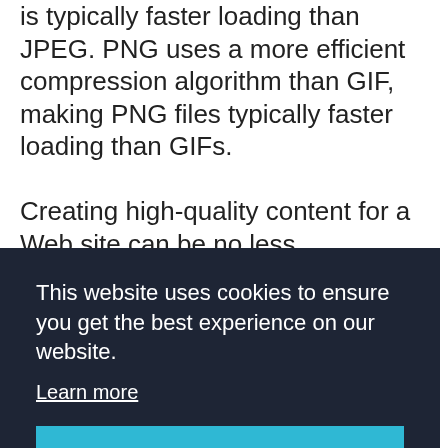is typically faster loading than JPEG. PNG uses a more efficient compression algorithm than GIF, making PNG files typically faster loading than GIFs. Creating high-quality content for a Web site can be no less challenging than creating a professionally done brochure, user manual, annual report or television commercial. If you don't have the time or in-house talent to create content, you can farm the job out to
[Figure (screenshot): Cookie consent overlay popup with dark navy background. Text reads 'This website uses cookies to ensure you get the best experience on our website.' with a 'Learn more' underlined link and a teal 'Got it!' button.]
ns
search for Web designers according to the